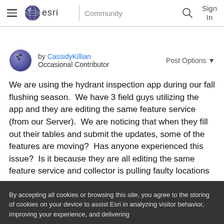esri Community
by CassidyKillian
Occasional Contributor
Post Options ▼
We are using the hydrant inspection app during our fall flushing season.  We have 3 field guys utilizing the app and they are editing the same feature service (from our Server).  We are noticing that when they fill out their tables and submit the updates, some of the features are moving?  Has anyone experienced this issue?  Is it because they are all editing the same feature service and collector is pulling faulty locations
By accepting all cookies or browsing this site, you agree to the storing of cookies on your device to assist Esri in analyzing visitor behavior, improving your experience, and delivering